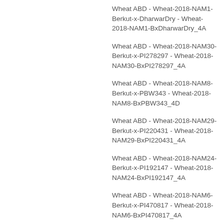Wheat ABD - Wheat-2018-NAM1-Berkut-x-DharwarDry - Wheat-2018-NAM1-BxDharwarDry_4A
Wheat ABD - Wheat-2018-NAM30-Berkut-x-PI278297 - Wheat-2018-NAM30-BxPI278297_4A
Wheat ABD - Wheat-2018-NAM8-Berkut-x-PBW343 - Wheat-2018-NAM8-BxPBW343_4D
Wheat ABD - Wheat-2018-NAM29-Berkut-x-PI220431 - Wheat-2018-NAM29-BxPI220431_4A
Wheat ABD - Wheat-2018-NAM24-Berkut-x-PI192147 - Wheat-2018-NAM24-BxPI192147_4A
Wheat ABD - Wheat-2018-NAM6-Berkut-x-PI470817 - Wheat-2018-NAM6-BxPI470817_4A
Wheat AB - Wheat_AB_2015_Consensus - Wheat_AB_2015_Consensus-4A
Wheat ABD - Wheat-2018-NAM2-Berkut-x-PI572692 - Wheat-2018-NAM2-BxPI572692_4A